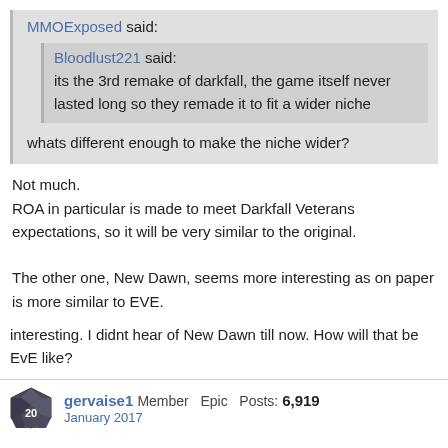MMOExposed said:
Bloodlust221 said:
its the 3rd remake of darkfall, the game itself never lasted long so they remade it to fit a wider niche
whats different enough to make the niche wider?
Not much.
ROA in particular is made to meet Darkfall Veterans expectations, so it will be very similar to the original.

The other one, New Dawn, seems more interesting as on paper is more similar to EVE.
interesting. I didnt hear of New Dawn till now. How will that be EvE like?
gervaise1 Member Epic Posts: 6,919
January 2017